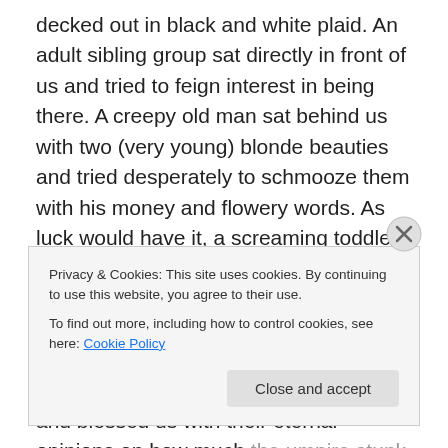decked out in black and white plaid. An adult sibling group sat directly in front of us and tried to feign interest in being there. A creepy old man sat behind us with two (very young) blonde beauties and tried desperately to schmooze them with his money and flowery words. As luck would have it, a screaming toddler sat directly to my left and gave her parents a run for their money while they tried to chomp on cheeseburgers the size (and cost) of Rhode Island.  Loud, boisterous drunks sat several rows back and blessed us with their eternal opinions on how much the umpire stunk.
Privacy & Cookies: This site uses cookies. By continuing to use this website, you agree to their use.
To find out more, including how to control cookies, see here: Cookie Policy